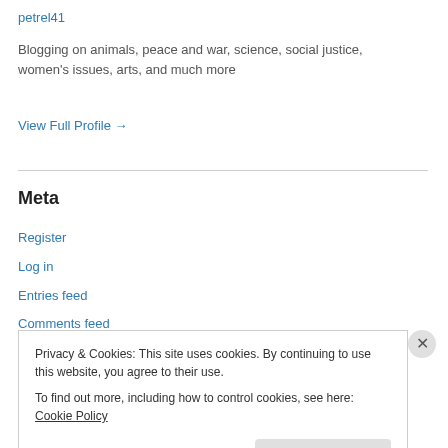petrel41
Blogging on animals, peace and war, science, social justice, women's issues, arts, and much more
View Full Profile →
Meta
Register
Log in
Entries feed
Comments feed
Privacy & Cookies: This site uses cookies. By continuing to use this website, you agree to their use.
To find out more, including how to control cookies, see here: Cookie Policy
Close and accept